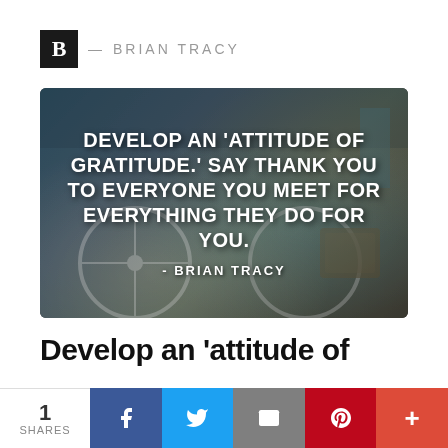B — BRIAN TRACY
[Figure (photo): Quote image with background photo of a bicycle and luggage with white bold text overlay reading: DEVELOP AN 'ATTITUDE OF GRATITUDE.' SAY THANK YOU TO EVERYONE YOU MEET FOR EVERYTHING THEY DO FOR YOU. - BRIAN TRACY]
Develop an 'attitude of
1 SHARES | f | tweet | email | pinterest | +